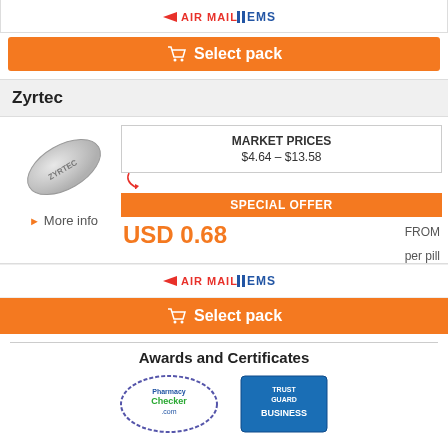[Figure (other): AIR MAIL and EMS shipping icons (top strip)]
Select pack (top button)
Zyrtec
[Figure (photo): Zyrtec pill tablet image, grey oblong pill with ZYRTEC embossed]
More info
MARKET PRICES $4.64 – $13.58
SPECIAL OFFER
FROM USD 0.68 per pill
[Figure (other): AIR MAIL and EMS shipping icons (bottom strip)]
Select pack (bottom button)
Awards and Certificates
[Figure (logo): PharmacyChecker.com logo badge]
[Figure (logo): Trust Guard Business logo badge]